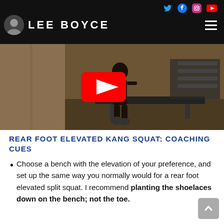Lee Boyce — website header with social icons (Twitter, Facebook, Instagram, YouTube) and hamburger menu
[Figure (screenshot): Video thumbnail showing a person performing a rear foot elevated exercise in a gym, with a YouTube play button overlay in red and white.]
REAR FOOT ELEVATED KANG SQUAT: COACHING CUES
Choose a bench with the elevation of your preference, and set up the same way you normally would for a rear foot elevated split squat. I recommend planting the shoelaces down on the bench; not the toe.